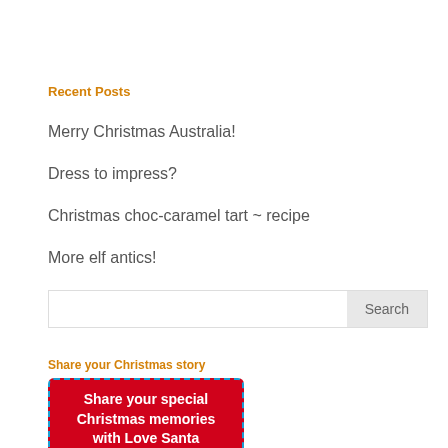Recent Posts
Merry Christmas Australia!
Dress to impress?
Christmas choc-caramel tart ~ recipe
More elf antics!
How does Santa deliver his letters?
[Figure (other): Search input box with Search button]
Share your Christmas story
[Figure (infographic): Red banner with dashed blue border reading: Share your special Christmas memories with Love Santa]